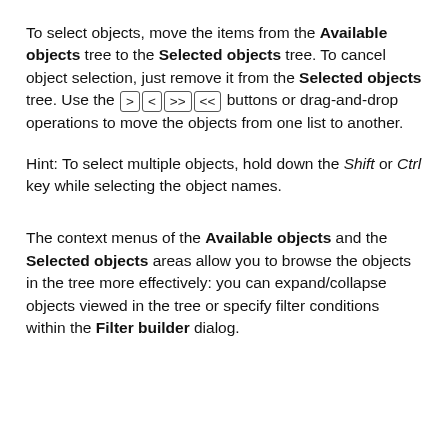To select objects, move the items from the Available objects tree to the Selected objects tree. To cancel object selection, just remove it from the Selected objects tree. Use the [>] [<] [>>] [<<] buttons or drag-and-drop operations to move the objects from one list to another.
Hint: To select multiple objects, hold down the Shift or Ctrl key while selecting the object names.
The context menus of the Available objects and the Selected objects areas allow you to browse the objects in the tree more effectively: you can expand/collapse objects viewed in the tree or specify filter conditions within the Filter builder dialog.